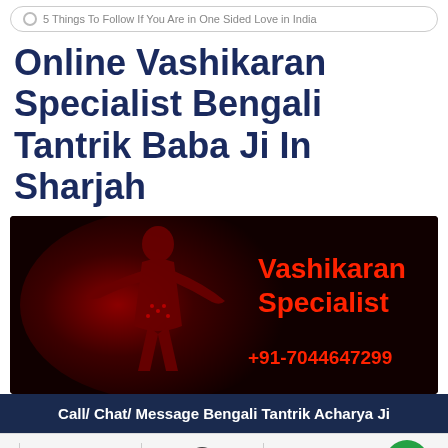5 Things To Follow If You Are in One Sided Love in India
Online Vashikaran Specialist Bengali Tantrik Baba Ji In Sharjah
[Figure (illustration): Dark red promotional image with a silhouette figure on the left and text 'Vashikaran Specialist +91-7044647299' on the right in red on black background]
Call/ Chat/ Message Bengali Tantrik Acharya Ji
[Figure (infographic): Action bar with phone icon, WhatsApp icon, share icon, and green chat/eye icon with dividers between them]